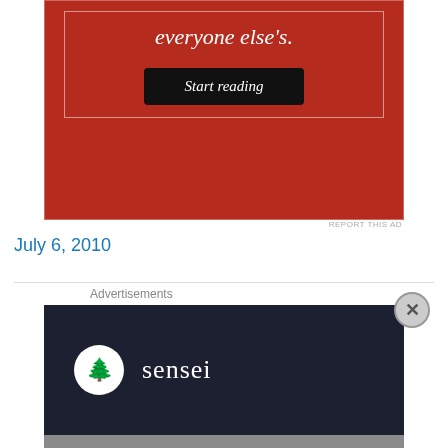[Figure (screenshot): Red advertisement banner with italic serif text 'everyone else's.' and a black 'Start reading' button]
REPORT THIS AD
July 6, 2010
Advertisements
[Figure (screenshot): Sensei advertisement with dark navy background showing a circular logo with a tree icon and the word 'sensei' in light serif font]
Advertisements
[Figure (screenshot): Seamless food delivery advertisement showing pizza image, red Seamless badge, and 'ORDER NOW' button on dark background]